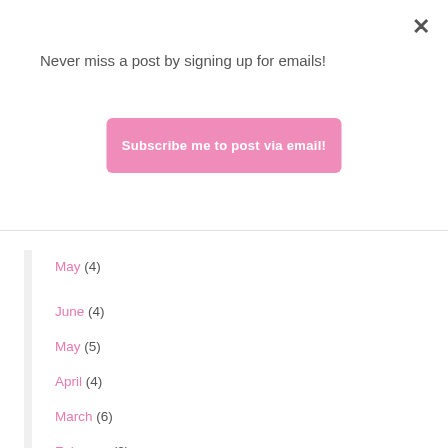Never miss a post by signing up for emails!
Subscribe me to post via email!
May (4)
June (4)
May (5)
April (4)
March (6)
February (2)
January (7)
December (9)
November (9)
October (3)